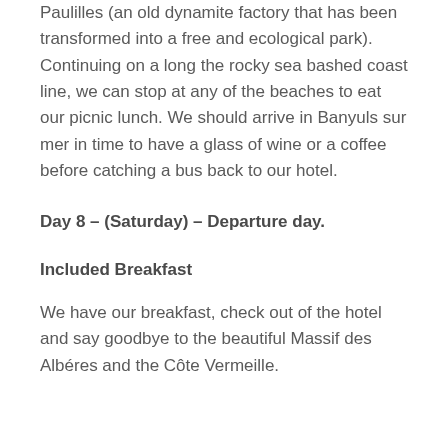Paulilles (an old dynamite factory that has been transformed into a free and ecological park). Continuing on a long the rocky sea bashed coast line, we can stop at any of the beaches to eat our picnic lunch. We should arrive in Banyuls sur mer in time to have a glass of wine or a coffee before catching a bus back to our hotel.
Day 8 – (Saturday) – Departure day.
Included Breakfast
We have our breakfast, check out of the hotel and say goodbye to the beautiful Massif des Albéres and the Côte Vermeille.